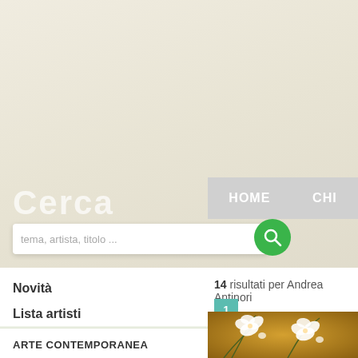HOME  CHI
Cerca
tema, artista, titolo ...
Novità
Lista artisti
14 risultati per Andrea Antinori
1
ARTE CONTEMPORANEA
FOTOGRAFIA
[Figure (photo): White orchid flowers on a golden/brown background — partial view of an artwork by Andrea Antinori]